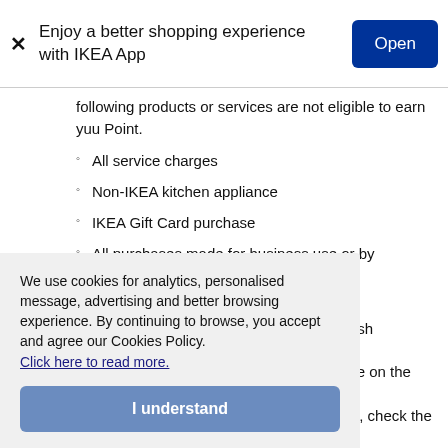Enjoy a better shopping experience with IKEA App | Open
following products or services are not eligible to earn yuu Point.
All service charges
Non-IKEA kitchen appliance
IKEA Gift Card purchase
All purchases made for business use or by business customers
6. How do I use my Points? You can use your yuu Points to redeem a Cash Voucher, which
available on the yuu
uu Points, check the
We use cookies for analytics, personalised message, advertising and better browsing experience. By continuing to browse, you accept and agree our Cookies Policy. Click here to read more.
I understand
e?
nts balance at the top of u App.
On the yuu website — log in at www.yuurewards.com to see